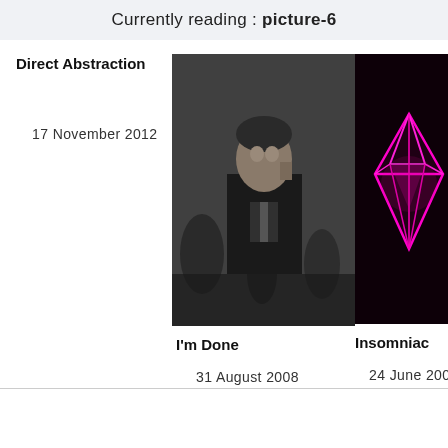Currently reading : picture-6
Direct Abstraction
17 November 2012
[Figure (photo): Black and white photo of a man in a suit, appears to be at a formal event]
I'm Done
31 August 2008
[Figure (illustration): Dark background with a neon pink/magenta diamond gemstone illustration]
Insomniac
24 June 2009